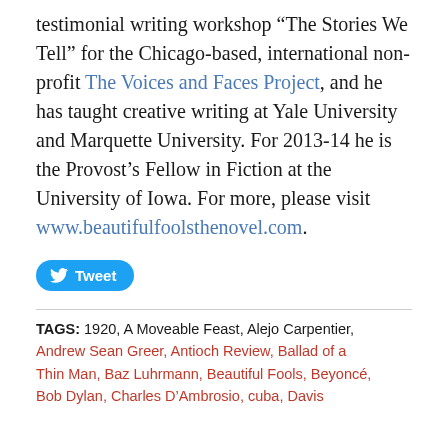testimonial writing workshop “The Stories We Tell” for the Chicago-based, international non-profit The Voices and Faces Project, and he has taught creative writing at Yale University and Marquette University. For 2013-14 he is the Provost’s Fellow in Fiction at the University of Iowa. For more, please visit www.beautifulfoolsthenovel.com.
Tweet
TAGS: 1920, A Moveable Feast, Alejo Carpentier, Andrew Sean Greer, Antioch Review, Ballad of a Thin Man, Baz Luhrmann, Beautiful Fools, Beyoncé, Bob Dylan, Charles D’Ambrosio, cuba, Davis